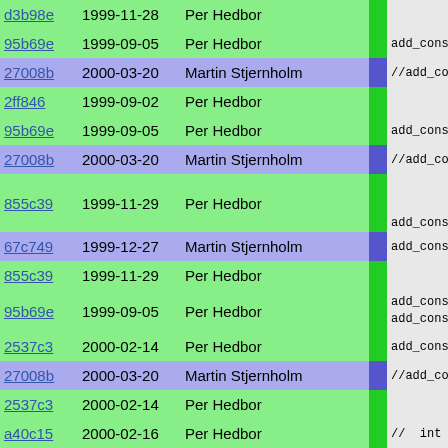| hash | date | author | bar | code |
| --- | --- | --- | --- | --- |
| d3b98e | 1999-11-28 | Per Hedbor |  |  |
| 95b69e | 1999-09-05 | Per Hedbor |  | add_cons |
| 27008b | 2000-03-20 | Martin Stjernholm |  | //add_co |
| 2ff846 | 1999-09-02 | Per Hedbor |  |  |
| 95b69e | 1999-09-05 | Per Hedbor |  | add_cons |
| 27008b | 2000-03-20 | Martin Stjernholm |  | //add_co |
| 855c39 | 1999-11-29 | Per Hedbor |  | add_cons |
| 67c749 | 1999-12-27 | Martin Stjernholm |  | add_cons |
| 855c39 | 1999-11-29 | Per Hedbor |  |  |
| 95b69e | 1999-09-05 | Per Hedbor |  | add_cons
add_cons |
| 2537c3 | 2000-02-14 | Per Hedbor |  | add_cons |
| 27008b | 2000-03-20 | Martin Stjernholm |  | //add_co |
| 2537c3 | 2000-02-14 | Per Hedbor |  |  |
| a40c15 | 2000-02-16 | Per Hedbor |  | //  int s |
| 9a8a15 | 2000-09-25 | Per Hedbor |  | _configu |
| 7e596b | 2000-02-13 | Per Hedbor |  | dump( "b
dump( "b |